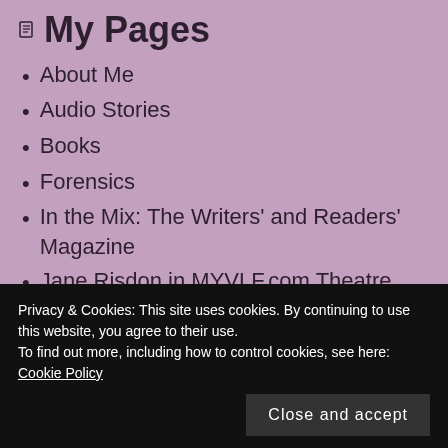My Pages
About Me
Audio Stories
Books
Forensics
In the Mix: The Writers’ and Readers’ Magazine
Jane Risdon in MYVLF.com Theatre
Ms. Birdsong Investigates
Ms. Birdsong Investigates: her journey so
Privacy & Cookies: This site uses cookies. By continuing to use this website, you agree to their use.
To find out more, including how to control cookies, see here:
Cookie Policy
Close and accept